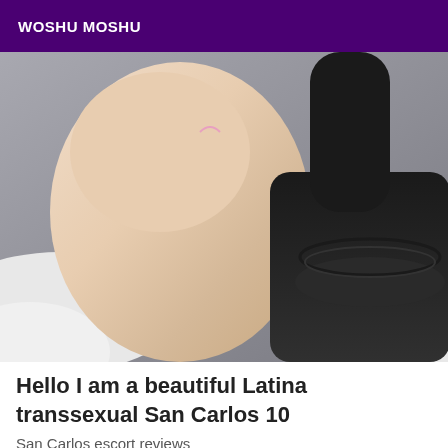WOSHU MOSHU
[Figure (photo): A photograph used in an escort listing advertisement]
Hello I am a beautiful Latina transsexual San Carlos 10
San Carlos escort reviews